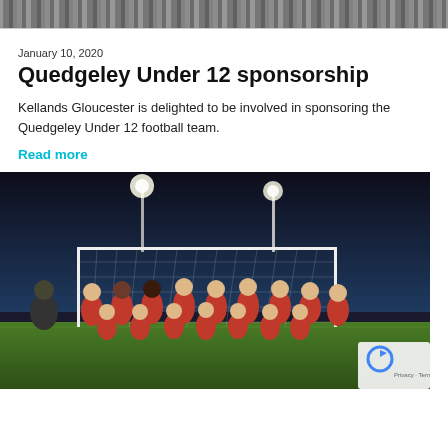[website banner/navigation bar]
January 10, 2020
Quedgeley Under 12 sponsorship
Kellands Gloucester is delighted to be involved in sponsoring the Quedgeley Under 12 football team.
Read more
[Figure (photo): Team photo of the Quedgeley Under 12 football team posing in front of a goal at night under floodlights, wearing red and white kits]